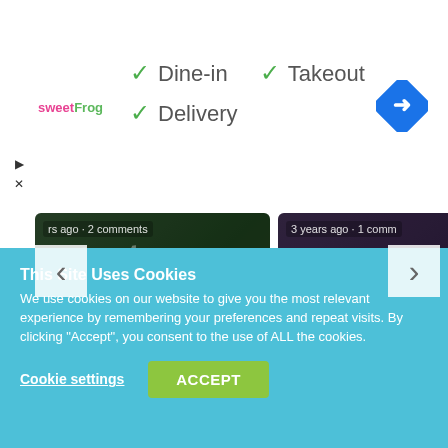[Figure (screenshot): Ad banner for sweetFrog with green checkmarks showing Dine-in, Takeout, and Delivery options, with a blue navigation diamond icon on the right]
[Figure (screenshot): Article carousel showing two cards: 'Health and Safety Officer Job ...' over a chalkboard background, and 'Credit Repair Specialist Job Description, ...' over a dark background. Navigation arrows and up arrow visible.]
This Site Uses Cookies
We use cookies on our website to give you the most relevant experience by remembering your preferences and repeat visits. By clicking "Accept", you consent to the use of ALL the cookies.
Cookie settings
ACCEPT